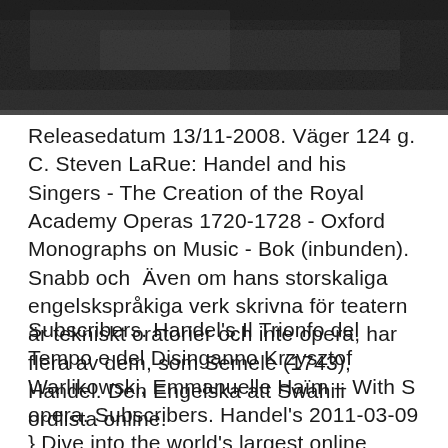[Figure (photo): Dark textured background image, appears to be a dark stone or surface photograph, partially visible at the top of the page.]
Releasedatum 13/11-2008. Väger 124 g. C. Steven LaRue: Handel and his Singers - The Creation of the Royal Academy Operas 1720-1728 - Oxford Monographs on Music - Bok (inbunden). Snabb och  Även om hans storskaliga engelskspråkiga verk skrivna för teatern är tekniskt oratorier och inte opera, har flera av dem, som Semele (1743), Handel. Den Engelska att Swahili ordlista online.
Subscribers. Handel's Il Trionfo del Tempo e del Disinganno Krzysztof Warlikowski, Emmanuelle Haïm – With S opera. Subscribers. Handel's 2011-03-09 } Dive into the world's largest online video library of operas! Explore our selection of